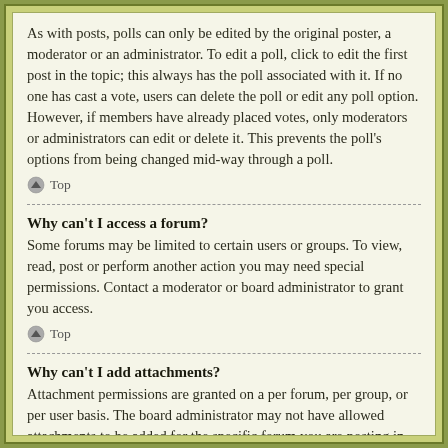As with posts, polls can only be edited by the original poster, a moderator or an administrator. To edit a poll, click to edit the first post in the topic; this always has the poll associated with it. If no one has cast a vote, users can delete the poll or edit any poll option. However, if members have already placed votes, only moderators or administrators can edit or delete it. This prevents the poll's options from being changed mid-way through a poll.
Top
Why can't I access a forum?
Some forums may be limited to certain users or groups. To view, read, post or perform another action you may need special permissions. Contact a moderator or board administrator to grant you access.
Top
Why can't I add attachments?
Attachment permissions are granted on a per forum, per group, or per user basis. The board administrator may not have allowed attachments to be added for the specific forum you are posting in, or perhaps only certain groups can post attachments. Contact the board administrator if you are unsure about why you are unable to add attachments.